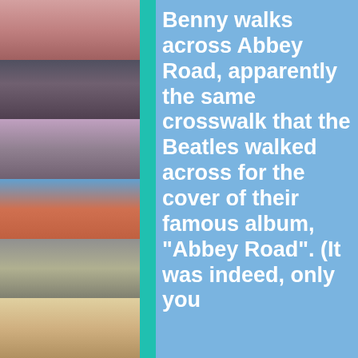[Figure (photo): Six stacked photo thumbnails of TV show characters/actors on the left side of the page]
Benny walks across Abbey Road, apparently the same crosswalk that the Beatles walked across for the cover of their famous album, "Abbey Road". (It was indeed, only you